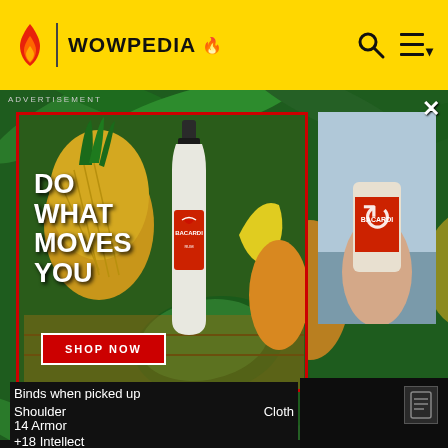WOWPEDIA
[Figure (screenshot): Bacardi advertisement with tropical fruits, bottle, and 'DO WHAT MOVES YOU / SHOP NOW' text overlay, plus a secondary Bacardi bottle image panel with reload icon]
Binds when picked up
Shoulder    Cloth
14 Armor
+18 Intellect
+31 Stamina
+14 Critical Strike
+10 Haste
Prismatic Socket
Socket Bonus: +3 Spell Power
Sanctified Dark Coven's Regalia
(1/5 pieces)